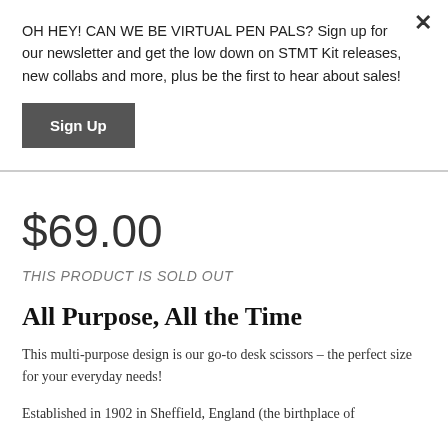OH HEY! CAN WE BE VIRTUAL PEN PALS? Sign up for our newsletter and get the low down on STMT Kit releases, new collabs and more, plus be the first to hear about sales!
Sign Up
$69.00
THIS PRODUCT IS SOLD OUT
All Purpose, All the Time
This multi-purpose design is our go-to desk scissors – the perfect size for your everyday needs!
Established in 1902 in Sheffield, England (the birthplace of